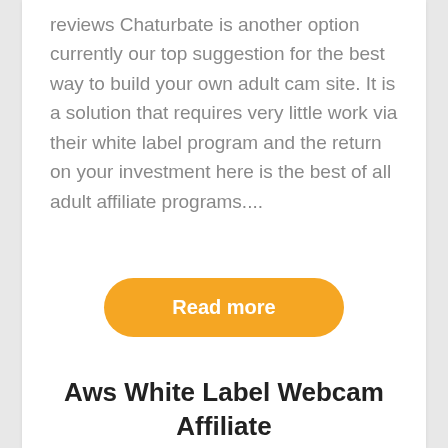reviews Chaturbate is another option currently our top suggestion for the best way to build your own adult cam site. It is a solution that requires very little work via their white label program and the return on your investment here is the best of all adult affiliate programs....
Read more
Aws White Label Webcam Affiliate